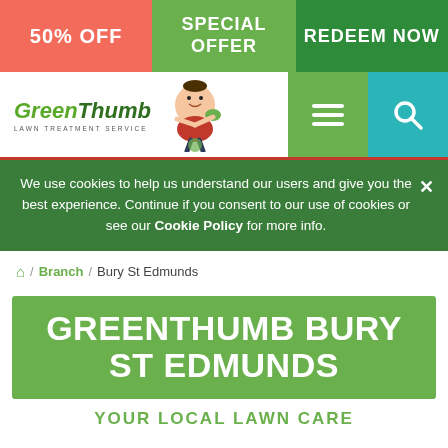50% OFF
SPECIAL OFFER
REDEEM NOW
[Figure (logo): GreenThumb Lawn Treatment Service logo with mascot character]
We use cookies to help us understand our users and give you the best experience. Continue if you consent to our use of cookies or see our Cookie Policy for more info.
Home / Branch / Bury St Edmunds
GREENTHUMB BURY ST EDMUNDS
YOUR LOCAL LAWN CARE